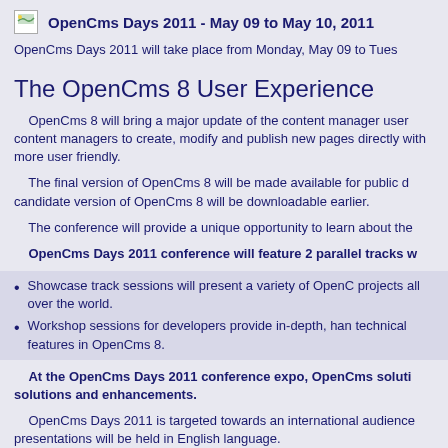OpenCms Days 2011 - May 09 to May 10, 2011
OpenCms Days 2011 will take place from Monday, May 09 to Tues
The OpenCms 8 User Experience
OpenCms 8 will bring a major update of the content manager user content managers to create, modify and publish new pages directly with more user friendly.
The final version of OpenCms 8 will be made available for public d candidate version of OpenCms 8 will be downloadable earlier.
The conference will provide a unique opportunity to learn about the
OpenCms Days 2011 conference will feature 2 parallel tracks w
Showcase track sessions will present a variety of OpenC projects all over the world.
Workshop sessions for developers provide in-depth, han technical features in OpenCms 8.
At the OpenCms Days 2011 conference expo, OpenCms soluti solutions and enhancements.
OpenCms Days 2011 is targeted towards an international audience presentations will be held in English language.
Registration price:
Early bird registration (by March 15): 100,- Euro